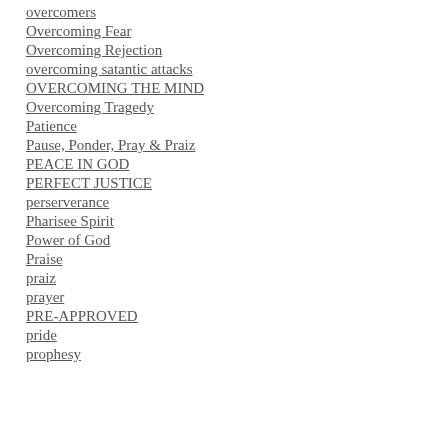overcomers
Overcoming Fear
Overcoming Rejection
overcoming satantic attacks
OVERCOMING THE MIND
Overcoming Tragedy
Patience
Pause, Ponder, Pray & Praiz
PEACE IN GOD
PERFECT JUSTICE
perserverance
Pharisee Spirit
Power of God
Praise
praiz
prayer
PRE-APPROVED
pride
prophesy